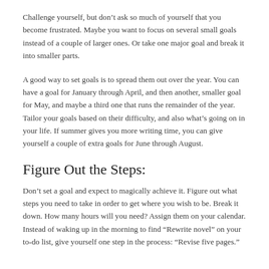Challenge yourself, but don't ask so much of yourself that you become frustrated. Maybe you want to focus on several small goals instead of a couple of larger ones. Or take one major goal and break it into smaller parts.
A good way to set goals is to spread them out over the year. You can have a goal for January through April, and then another, smaller goal for May, and maybe a third one that runs the remainder of the year. Tailor your goals based on their difficulty, and also what's going on in your life. If summer gives you more writing time, you can give yourself a couple of extra goals for June through August.
Figure Out the Steps:
Don't set a goal and expect to magically achieve it. Figure out what steps you need to take in order to get where you wish to be. Break it down. How many hours will you need? Assign them on your calendar. Instead of waking up in the morning to find “Rewrite novel” on your to-do list, give yourself one step in the process: “Revise five pages.”